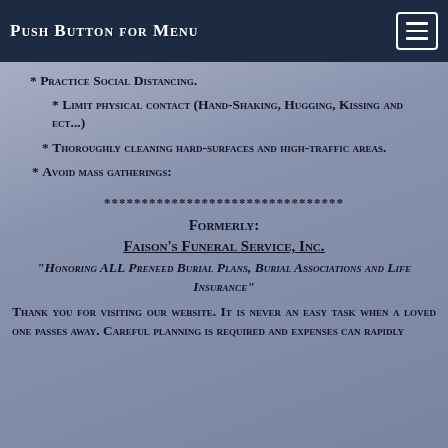Push Button for Menu
* Practice Social Distancing.
* Limit physical contact (Hand-Shaking, Hugging, Kissing and ect...)
* Thoroughly cleaning hard-surfaces and high-traffic areas.
* Avoid mass gatherings:
********************************
Formerly:
Faison's Funeral Service, Inc.
"Honoring ALL Preneed Burial Plans, Burial Associations and Life Insurance"
Thank you for visiting our website. It is never an easy task when a loved one passes away. Careful planning is required and expenses can rapidly